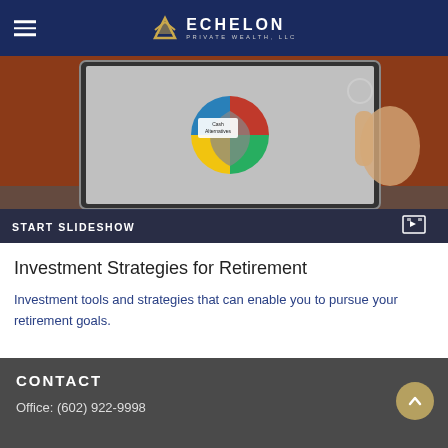ECHELON PRIVATE WEALTH, LLC
[Figure (screenshot): Slideshow thumbnail showing a hand pointing at a financial pie chart with 'Cash Alternatives' label visible on a tablet or board. A dark overlay bar at the bottom reads 'START SLIDESHOW' with a slideshow icon on the right.]
Investment Strategies for Retirement
Investment tools and strategies that can enable you to pursue your retirement goals.
CONTACT
Office: (602) 922-9998